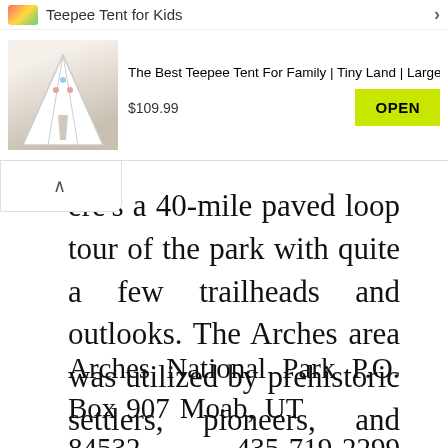[Figure (screenshot): Advertisement banner for 'The Best Teepee Tent For Family | Tiny Land | Large White Teepee, lac...' priced at $109.99 with an OPEN button, overlaying the main text content. Top bar shows 'Teepee Tent for Kids' with colorful icon and close button.]
ere's a 40-mile paved loop tour of the park with quite a few trailheads and outlooks. The Arches area was utilized by prehistoric settlers, pioneers, and Native Individuals, so guests can discover petroglyphs and historic buildings right here.
Arches National Park P.O. Box 907 Moab, UT   84532   435-719-2299 nps.gov/arch/index.htm